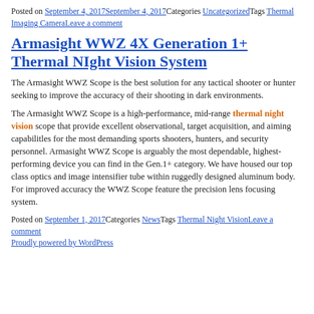Posted on September 4, 2017September 4, 2017Categories UncategorizedTags Thermal Imaging CameraLeave a comment
Armasight WWZ 4X Generation 1+ Thermal NIght Vision System
The Armasight WWZ Scope is the best solution for any tactical shooter or hunter seeking to improve the accuracy of their shooting in dark environments.
The Armasight WWZ Scope is a high-performance, mid-range thermal night vision scope that provide excellent observational, target acquisition, and aiming capabilitles for the most demanding sports shooters, hunters, and security personnel. Armasight WWZ Scope is arguably the most dependable, highest-performing device you can find in the Gen.1+ category. We have housed our top class optics and image intensifier tube within ruggedly designed aluminum body. For improved accuracy the WWZ Scope feature the precision lens focusing system.
Posted on September 1, 2017Categories NewsTags Thermal Night VisionLeave a comment
Proudly powered by WordPress